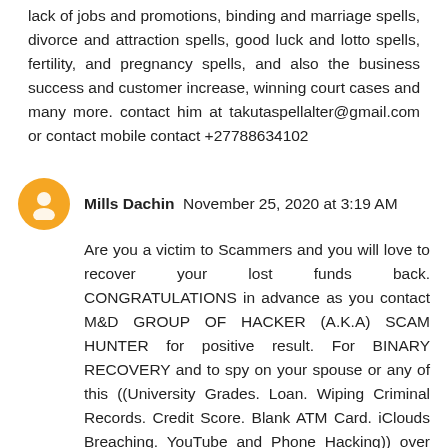lack of jobs and promotions, binding and marriage spells, divorce and attraction spells, good luck and lotto spells, fertility, and pregnancy spells, and also the business success and customer increase, winning court cases and many more. contact him at takutaspellalter@gmail.com or contact mobile contact +27788634102
Mills Dachin  November 25, 2020 at 3:19 AM
Are you a victim to Scammers and you will love to recover your lost funds back. CONGRATULATIONS in advance as you contact M&D GROUP OF HACKER (A.K.A) SCAM HUNTER for positive result. For BINARY RECOVERY and to spy on your spouse or any of this ((University Grades. Loan. Wiping Criminal Records. Credit Score. Blank ATM Card. iClouds Breaching. YouTube and Phone Hacking)) over the years we have stand as BackUp for individuals Organization to secure & to recover there lost Files/Password/Bitcoin and funds etc. to get your